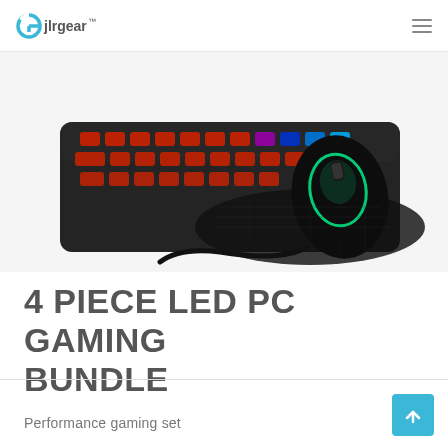jlrgear™
[Figure (photo): Gaming keyboard with red and multi-color LED backlighting, a green LED backlit gaming mouse, and a black mouse pad, photographed on a white background from a slightly elevated angle.]
4 PIECE LED PC GAMING BUNDLE
Performance gaming set